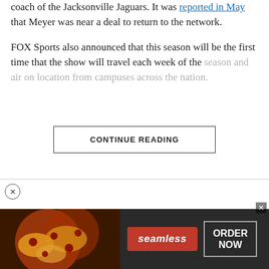coach of the Jacksonville Jaguars. It was reported in May that Meyer was near a deal to return to the network.
FOX Sports also announced that this season will be the first time that the show will travel each week of the season and air on location from campuses across the nation.
CONTINUE READING
[Figure (screenshot): Video player thumbnail showing The Producers Podcast logo on a dark blue background on the left, and a man in a black jacket on the right, with a play button overlay. Partially visible headline text reading 'o Launch ESPN'.]
[Figure (screenshot): Advertisement banner for Seamless food delivery service showing pizza image on the left, a red Seamless button in the center, and an ORDER NOW button on the right against a dark background.]